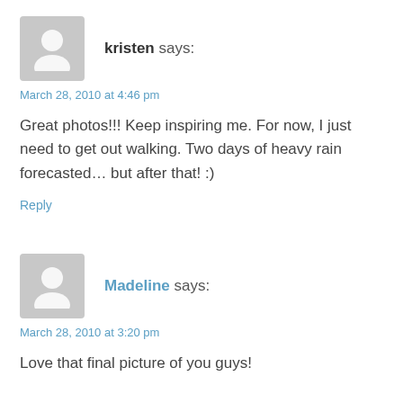[Figure (illustration): Gray placeholder avatar icon with silhouette of a person (head and shoulders)]
kristen says:
March 28, 2010 at 4:46 pm
Great photos!!! Keep inspiring me. For now, I just need to get out walking. Two days of heavy rain forecasted... but after that! :)
Reply
[Figure (illustration): Gray placeholder avatar icon with silhouette of a person (head and shoulders)]
Madeline says:
March 28, 2010 at 3:20 pm
Love that final picture of you guys!